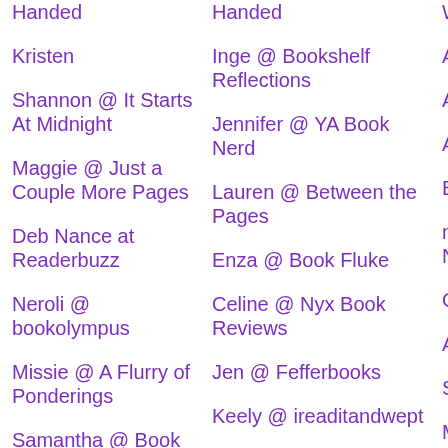Handed
Kristen
Shannon @ It Starts At Midnight
Maggie @ Just a Couple More Pages
Deb Nance at Readerbuzz
Neroli @ bookolympus
Missie @ A Flurry of Ponderings
Samantha @ Book Enthralled
Caitlin @ Books and Window Seats
Nienna @ According to Nienna
El @ So Bookalicious
Inge @ Bookshelf Reflections
Jennifer @ YA Book Nerd
Lauren @ Between the Pages
Enza @ Book Fluke
Celine @ Nyx Book Reviews
Jen @ Fefferbooks
Keely @ ireaditandwept
Nikki & Keira @ Lazy Book Lovers
Emma @ The Bookshelf Kitten
Erica @ Sea of Reading
Whitn…
Adele
Alicia
Anna
BookC…
neville Nevill…
Claire
Amy
Stacie
Miche…
Kristin…